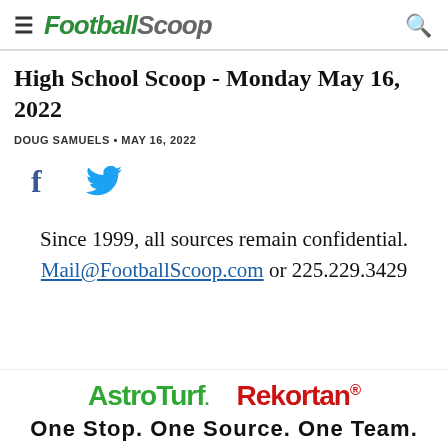FootballScoop
High School Scoop - Monday May 16, 2022
DOUG SAMUELS • MAY 16, 2022
[Figure (other): Facebook and Twitter social share icons]
Since 1999, all sources remain confidential. Mail@FootballScoop.com or 225.229.3429
[Figure (logo): AstroTurf and Rekortan logos with tagline One Stop. One Source. One Team.]